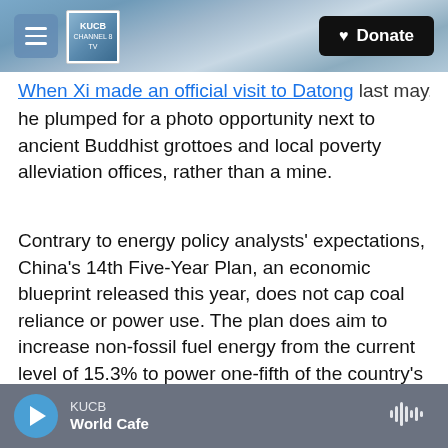KUCB Channel 8 TV | Donate
When Xi made an official visit to Datong last may, he plumped for a photo opportunity next to ancient Buddhist grottoes and local poverty alleviation offices, rather than a mine.
Contrary to energy policy analysts' expectations, China's 14th Five-Year Plan, an economic blueprint released this year, does not cap coal reliance or power use. The plan does aim to increase non-fossil fuel energy from the current level of 15.3% to power one-fifth of the country's expected total energy usage by 2025. And it aims to continue reducing carbon emissions — but only maintaining, rather than accelerating, existing trends over the
KUCB
World Cafe